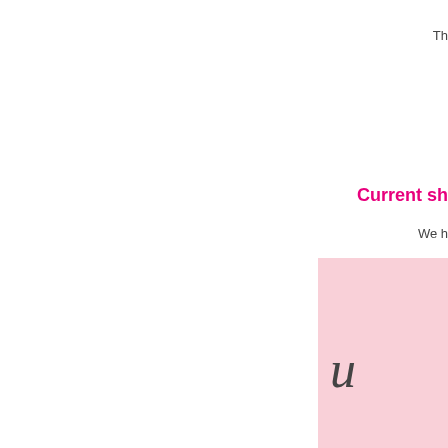Th
Current sh
We h
[Figure (illustration): Pink/rose colored box with italic script letter 'u' or partial word visible]